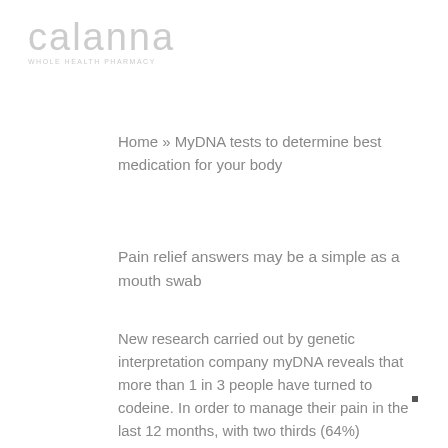[Figure (logo): Calanna pharmacy logo in light grey with tagline text below]
Home » MyDNA tests to determine best medication for your body
Pain relief answers may be a simple as a mouth swab
New research carried out by genetic interpretation company myDNA reveals that more than 1 in 3 people have turned to codeine. In order to manage their pain in the last 12 months, with two thirds (64%) purchasing it over-the-counter.
North Queensland Based Whole Health pharmacy group Calanna are encouraging people affected by the changes to Codeine this Thursday to come in store for a customised review of their pain management plans.